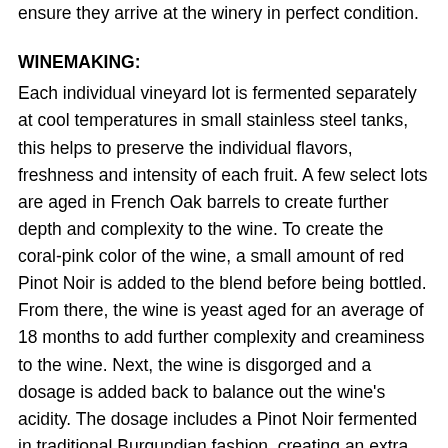ensure they arrive at the winery in perfect condition.
WINEMAKING:
Each individual vineyard lot is fermented separately at cool temperatures in small stainless steel tanks, this helps to preserve the individual flavors, freshness and intensity of each fruit. A few select lots are aged in French Oak barrels to create further depth and complexity to the wine. To create the coral-pink color of the wine, a small amount of red Pinot Noir is added to the blend before being bottled. From there, the wine is yeast aged for an average of 18 months to add further complexity and creaminess to the wine. Next, the wine is disgorged and a dosage is added back to balance out the wine's acidity. The dosage includes a Pinot Noir fermented in traditional Burgundian fashion, creating an extra layer of depth, color and robust fruit notes to the wine.